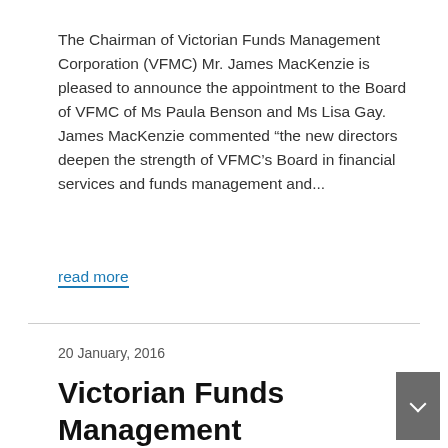The Chairman of Victorian Funds Management Corporation (VFMC) Mr. James MacKenzie is pleased to announce the appointment to the Board of VFMC of Ms Paula Benson and Ms Lisa Gay. James MacKenzie commented “the new directors deepen the strength of VFMC’s Board in financial services and funds management and...
read more
20 January, 2016
Victorian Funds Management Corporation Chief Executive Officer Announcement